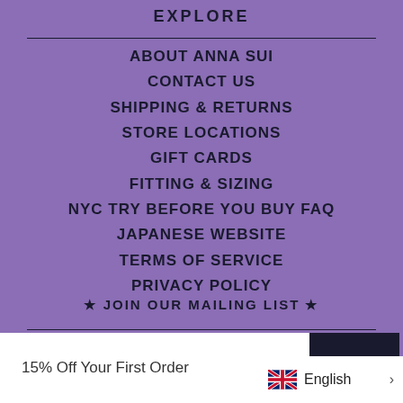EXPLORE
ABOUT ANNA SUI
CONTACT US
SHIPPING & RETURNS
STORE LOCATIONS
GIFT CARDS
FITTING & SIZING
NYC TRY BEFORE YOU BUY FAQ
JAPANESE WEBSITE
TERMS OF SERVICE
PRIVACY POLICY
★ JOIN OUR MAILING LIST ★
15% Off Your First Order
JOIN
English